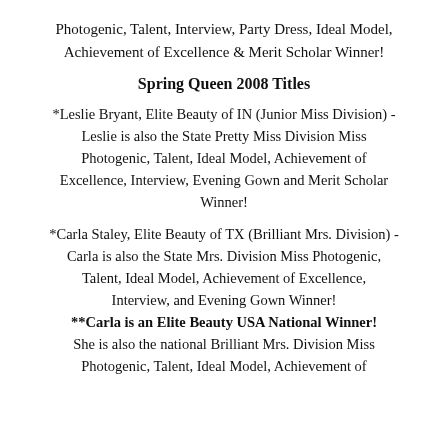Photogenic, Talent, Interview, Party Dress, Ideal Model, Achievement of Excellence & Merit Scholar Winner!
Spring Queen 2008 Titles
*Leslie Bryant, Elite Beauty of IN (Junior Miss Division) - Leslie is also the State Pretty Miss Division Miss Photogenic, Talent, Ideal Model, Achievement of Excellence, Interview, Evening Gown and Merit Scholar Winner!
*Carla Staley, Elite Beauty of TX (Brilliant Mrs. Division) - Carla is also the State Mrs. Division Miss Photogenic, Talent, Ideal Model, Achievement of Excellence, Interview, and Evening Gown Winner! **Carla is an Elite Beauty USA National Winner! She is also the national Brilliant Mrs. Division Miss Photogenic, Talent, Ideal Model, Achievement of